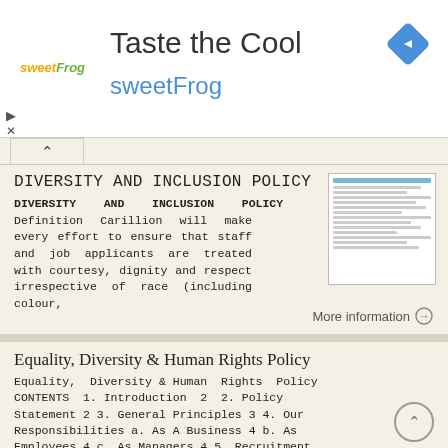[Figure (logo): SweetFrog ad banner with logo, 'Taste the Cool' headline, navigation diamond icon, play and close buttons]
DIVERSITY AND INCLUSION POLICY
DIVERSITY AND INCLUSION POLICY Definition Carillion will make every effort to ensure that staff and job applicants are treated with courtesy, dignity and respect irrespective of race (including colour,
More information →
Equality, Diversity & Human Rights Policy
Equality, Diversity & Human Rights Policy CONTENTS 1. Introduction 2 2. Policy Statement 2 3. General Principles 3 4. Our Responsibilities a. As A Business 4 b. As Employees 4 c. As Managers 4 5. Recruitment